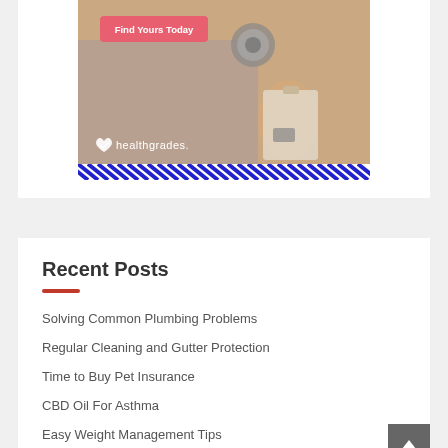[Figure (photo): Healthgrades advertisement showing a doctor/healthcare professional with stethoscope holding a clipboard. Red button reading 'Find Yours Today' and healthgrades logo with heart/check icon. Blue diagonal stripe bar at the bottom of the image.]
Recent Posts
Solving Common Plumbing Problems
Regular Cleaning and Gutter Protection
Time to Buy Pet Insurance
CBD Oil For Asthma
Easy Weight Management Tips